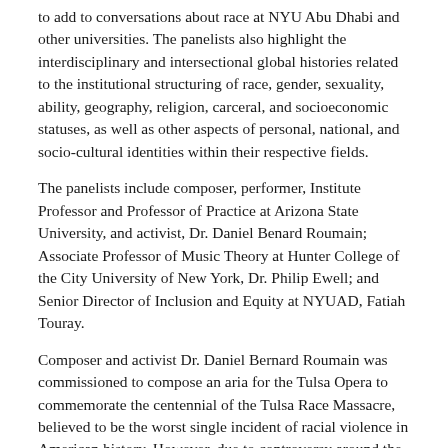to add to conversations about race at NYU Abu Dhabi and other universities. The panelists also highlight the interdisciplinary and intersectional global histories related to the institutional structuring of race, gender, sexuality, ability, geography, religion, carceral, and socioeconomic statuses, as well as other aspects of personal, national, and socio-cultural identities within their respective fields.
The panelists include composer, performer, Institute Professor and Professor of Practice at Arizona State University, and activist, Dr. Daniel Benard Roumain; Associate Professor of Music Theory at Hunter College of the City University of New York, Dr. Philip Ewell; and Senior Director of Inclusion and Equity at NYUAD, Fatiah Touray.
Composer and activist Dr. Daniel Bernard Roumain was commissioned to compose an aria for the Tulsa Opera to commemorate the centennial of the Tulsa Race Massacre, believed to be the worst single incident of racial violence in American history. However, due to controversy around the libretto, the commission was cancelled by the Tulsa Opera. Here is an account of what happened.